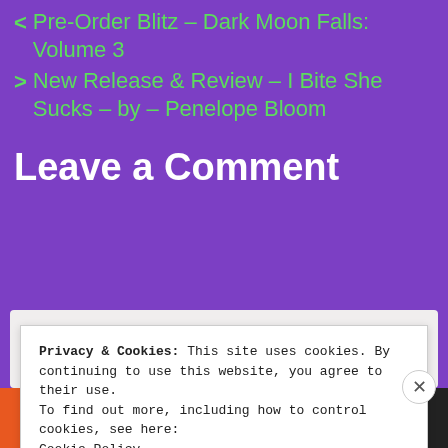< Pre-Order Blitz – Dark Moon Falls: Volume 3
> New Release & Review – I Bite She Sucks – by – Penelope Bloom
Leave a Comment
Privacy & Cookies: This site uses cookies. By continuing to use this website, you agree to their use.
To find out more, including how to control cookies, see here:
Cookie Policy
Close and accept